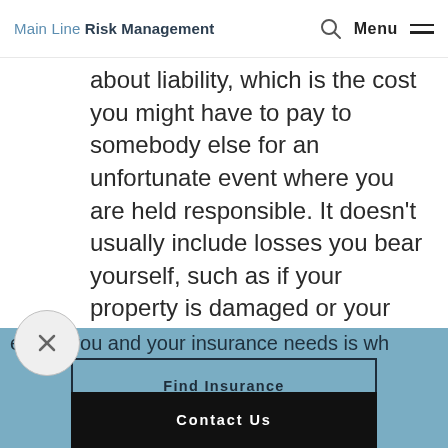Main Line Risk Management | Menu
about liability, which is the cost you might have to pay to somebody else for an unfortunate event where you are held responsible. It doesn't usually include losses you bear yourself, such as if your property is damaged or your possessions are
erving you and your insurance needs is wh
Find Insurance
Contact Us